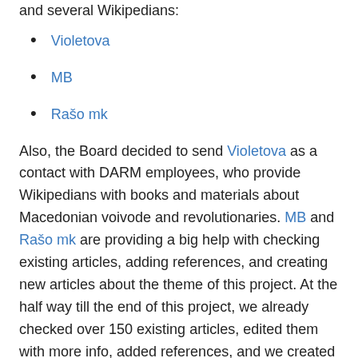and several Wikipedians:
Violetova
MB
Rašo mk
Also, the Board decided to send Violetova as a contact with DARM employees, who provide Wikipedians with books and materials about Macedonian voivode and revolutionaries. MB and Rašo mk are providing a big help with checking existing articles, adding references, and creating new articles about the theme of this project. At the half way till the end of this project, we already checked over 150 existing articles, edited them with more info, added references, and we created 38 new articles.